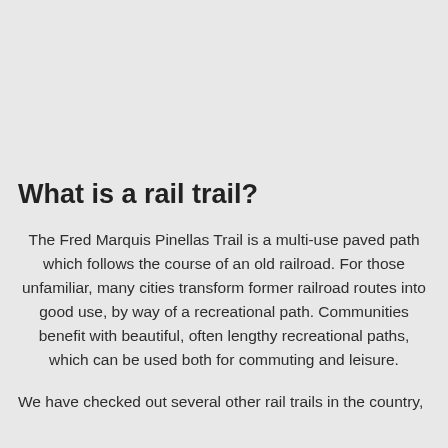What is a rail trail?
The Fred Marquis Pinellas Trail is a multi-use paved path which follows the course of an old railroad. For those unfamiliar, many cities transform former railroad routes into good use, by way of a recreational path. Communities benefit with beautiful, often lengthy recreational paths, which can be used both for commuting and leisure.
We have checked out several other rail trails in the country,